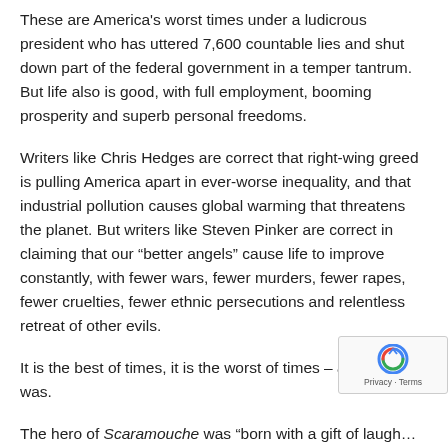These are America's worst times under a ludicrous president who has uttered 7,600 countable lies and shut down part of the federal government in a temper tantrum. But life also is good, with full employment, booming prosperity and superb personal freedoms.
Writers like Chris Hedges are correct that right-wing greed is pulling America apart in ever-worse inequality, and that industrial pollution causes global warming that threatens the planet. But writers like Steven Pinker are correct in claiming that our “better angels” cause life to improve constantly, with fewer wars, fewer murders, fewer rapes, fewer cruelties, fewer ethnic persecutions and relentless retreat of other evils.
It is the best of times, it is the worst of times – and it always was.
The hero of Scaramouche was “born with a gift of laugh… and a sense that the world is mad.” But that’s just half the